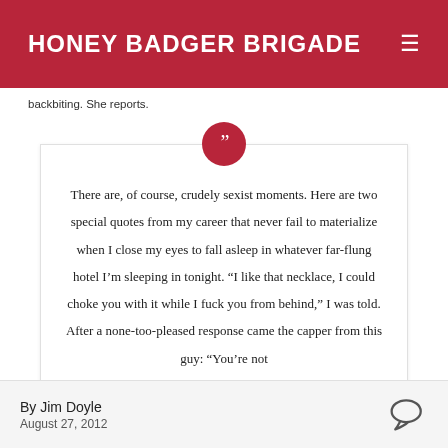HONEY BADGER BRIGADE
backbiting. She reports.
[Figure (other): Large quotation mark icon inside a dark red circle, positioned above a blockquote box.]
There are, of course, crudely sexist moments. Here are two special quotes from my career that never fail to materialize when I close my eyes to fall asleep in whatever far-flung hotel I’m sleeping in tonight. “I like that necklace, I could choke you with it while I fuck you from behind,” I was told. After a none-too-pleased response came the capper from this guy: “You’re not
By Jim Doyle
August 27, 2012